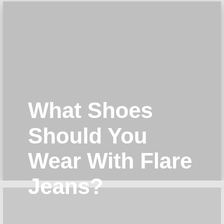[Figure (photo): Gray placeholder image card (top), showing white bold text title overlay. A second gray placeholder card is partially visible at the bottom of the page.]
What Shoes Should You Wear With Flare Jeans?